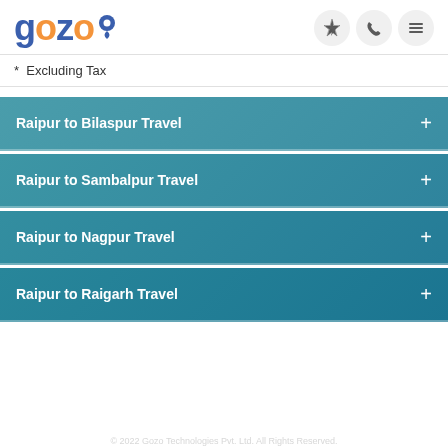gozo — navigation header with logo and icons
* Excluding Tax
Raipur to Bilaspur Travel
Raipur to Sambalpur Travel
Raipur to Nagpur Travel
Raipur to Raigarh Travel
Raipur to Jharsuguda Travel
Raipur to Korba Travel
Raipur to Jagdalpur Travel
Raipur to Raebareli Travel (partial)
© 2022 Gozo Technologies Pvt. Ltd. All Rights Reserved.